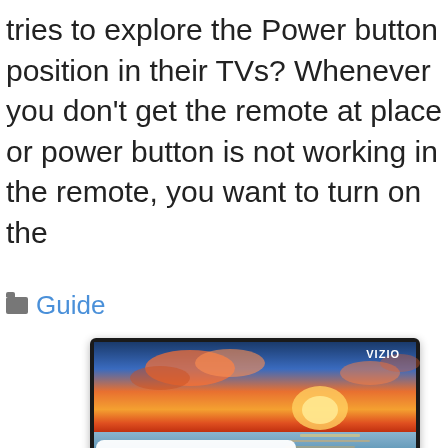tries to explore the Power button position in their TVs? Whenever you don't get the remote at place or power button is not working in the remote, you want to turn on the
Guide
[Figure (photo): A Vizio TV displaying a sunset/beach scene with a white overlay caption box reading 'Where is the Power Button on My Vizio TV?']